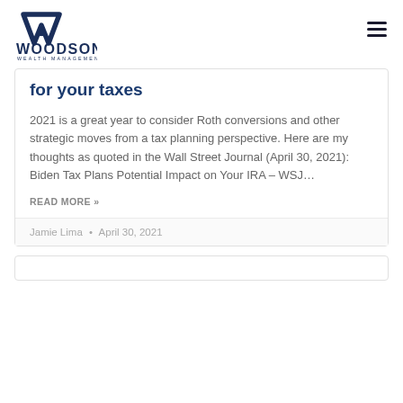[Figure (logo): Woodson Wealth Management logo — stylized W icon above 'WOODSON' in bold dark navy, 'WEALTH MANAGEMENT' in small caps below]
for your taxes
2021 is a great year to consider Roth conversions and other strategic moves from a tax planning perspective. Here are my thoughts as quoted in the Wall Street Journal (April 30, 2021): Biden Tax Plans Potential Impact on Your IRA – WSJ…
READ MORE »
Jamie Lima  •  April 30, 2021